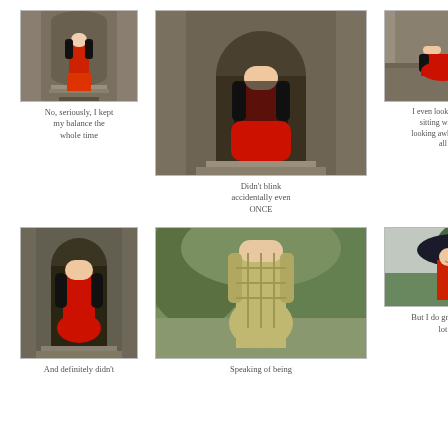[Figure (photo): Woman in red dress standing in front of large wooden arched door]
No, seriously, I kept my balance the whole time
[Figure (photo): Woman in red dress and black cardigan standing in front of tall arched wooden door, larger photo]
Didn’t blink accidentally even ONCE
[Figure (photo): Woman in red dress sitting on ledge]
I even looked great sitting without looking awkward at all
[Figure (photo): Woman in red dress and black cardigan standing in front of arched door]
And definitely didn’t
[Figure (photo): Woman in green plaid dress standing outdoors]
Speaking of being
[Figure (photo): Woman in red outfit holding black umbrella outdoors]
But I do grimace a lot